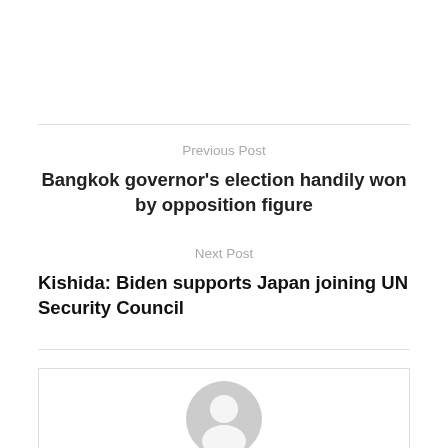Previous Post
Bangkok governor's election handily won by opposition figure
Next Post
Kishida: Biden supports Japan joining UN Security Council
[Figure (illustration): Generic user avatar icon — a circular silhouette of a person in light gray]